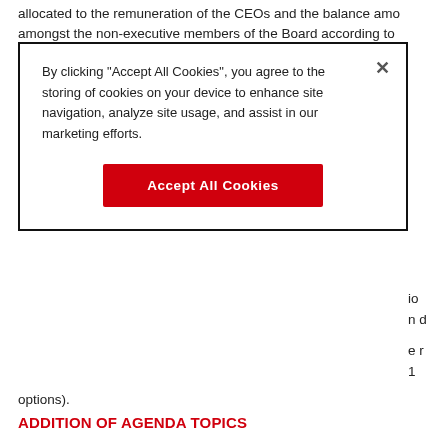allocated to the remuneration of the CEOs and the balance amo amongst the non-executive members of the Board according to
[Figure (screenshot): Cookie consent dialog overlay with text 'By clicking "Accept All Cookies", you agree to the storing of cookies on your device to enhance site navigation, analyze site usage, and assist in our marketing efforts.' and a red 'Accept All Cookies' button, with a close X in the top right corner.]
options).
ADDITION OF AGENDA TOPICS
One or more shareholders jointly owning at least 3% of the com discussion to the agenda and submit proposals for resolution with re the agenda. Shareholders must address their request hereto no later NV, Legal Department, Beneluxpark 21 at 8500 Kortrijk (email: request must be accompanied by (i) the proof of the ownership of th capital, (ii) the text of the topics to be discussed and the proposals o the proposals of resolution to be added to the agenda, and (iii) a pos